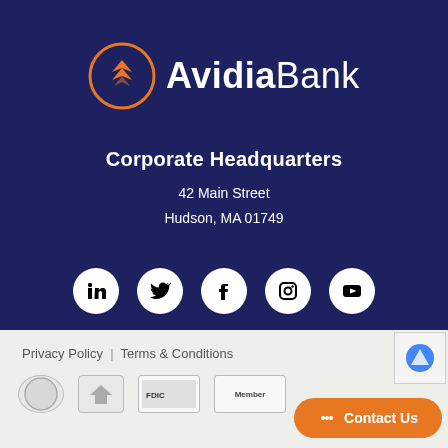[Figure (logo): Avidia Bank logo: orange circle with chevron arrow icon on left, then bold white text 'Avidia' followed by regular white text 'Bank']
Corporate Headquarters
42 Main Street
Hudson, MA 01749
[Figure (infographic): Row of five white circular social media icon buttons: LinkedIn, Twitter, Facebook, Instagram, YouTube]
Privacy Policy  |  Terms & Conditions
[Figure (infographic): Footer trust badges and icons row: two circular badge icons, one rectangular FDIC badge, one Member badge]